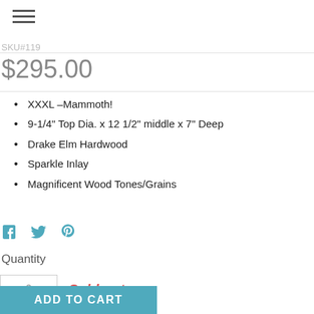[Figure (other): Hamburger menu icon (three horizontal lines)]
SKU#119
$295.00
XXXL –Mammoth!
9-1/4" Top Dia. x 12 1/2" middle x 7" Deep
Drake Elm Hardwood
Sparkle Inlay
Magnificent Wood Tones/Grains
[Figure (other): Social share icons: Facebook, Twitter, Pinterest]
Quantity
0
Sold out
ADD TO CART